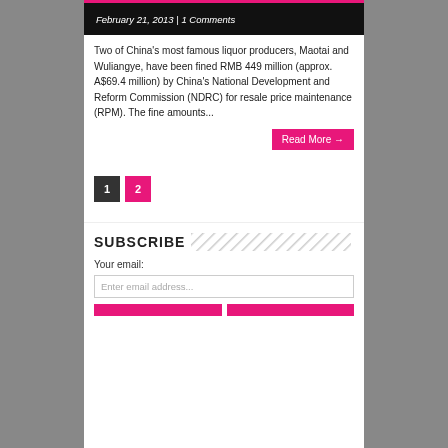February 21, 2013 | 1 Comments
Two of China's most famous liquor producers, Maotai and Wuliangye, have been fined RMB 449 million (approx. A$69.4 million) by China's National Development and Reform Commission (NDRC) for resale price maintenance (RPM).  The fine amounts...
Read More →
1
2
SUBSCRIBE
Your email:
Enter email address...